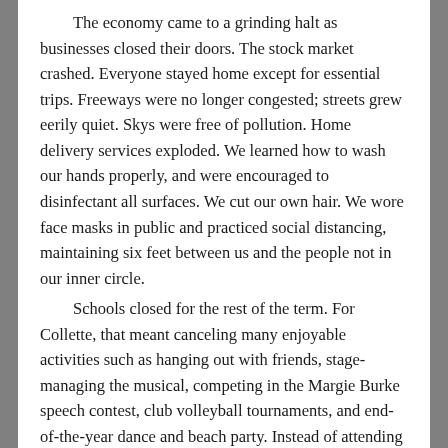The economy came to a grinding halt as businesses closed their doors. The stock market crashed. Everyone stayed home except for essential trips. Freeways were no longer congested; streets grew eerily quiet. Skys were free of pollution. Home delivery services exploded. We learned how to wash our hands properly, and were encouraged to disinfectant all surfaces. We cut our own hair. We wore face masks in public and practiced social distancing, maintaining six feet between us and the people not in our inner circle. Schools closed for the rest of the term. For Collette, that meant canceling many enjoyable activities such as hanging out with friends, stage-managing the musical, competing in the Margie Burke speech contest, club volleyball tournaments, and end-of-the-year dance and beach party. Instead of attending regular classes, she experienced ‘remote learning’, sitting at home with her laptop using Zoom technology. She added two guinea pigs (Sky and Star) and a new puppy (Roxy) to her pet family, which helped fill the long hours.